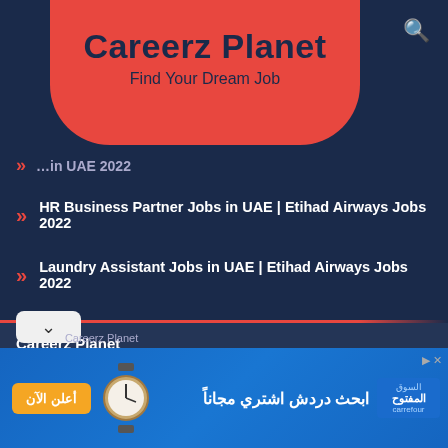Careerz Planet
Find Your Dream Job
HR Business Partner Jobs in UAE | Etihad Airways Jobs 2022
Laundry Assistant Jobs in UAE | Etihad Airways Jobs 2022
Careerz Planet
About Us
Blog
Contact Us
[Figure (screenshot): Arabic advertisement banner with watch image, yellow button with Arabic text 'أعلن الآن', Arabic text 'ابحث دردش اشتري مجاناً', and Carrefour-style logo 'السوق المفتوح']